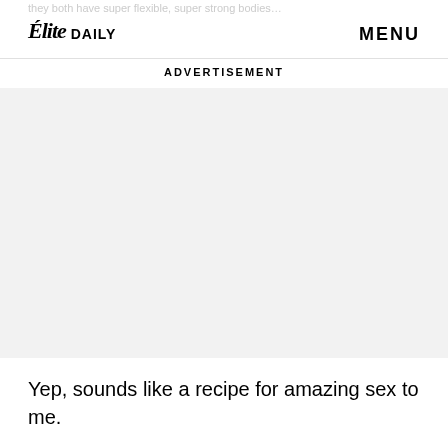they both have super flexible, super strong bodies…
[Figure (logo): Elite Daily logo — italic script 'Elite' combined with bold sans-serif 'DAILY']
MENU
ADVERTISEMENT
[Figure (other): Advertisement placeholder — light grey rectangle]
Yep, sounds like a recipe for amazing sex to me.